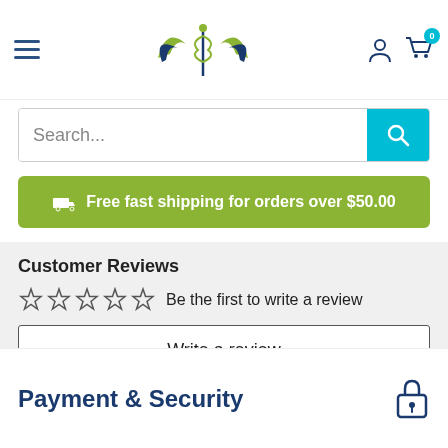[Figure (logo): Twin Lights Medical logo with caduceus and wings, dark blue and olive green colors]
Search...
Free fast shipping for orders over $50.00
Customer Reviews
Be the first to write a review
Write a review
Payment & Security